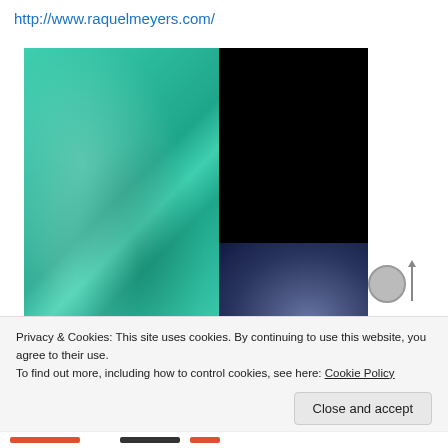http://www.raquelmeyers.com/
[Figure (photo): Split image: left half shows green/teal crinkled plastic material with light reflections; right half shows black background with bottom-right showing Earth from space with visible arc and surface details. A circular icon and upward arrow are partially visible at the right edge.]
Privacy & Cookies: This site uses cookies. By continuing to use this website, you agree to their use.
To find out more, including how to control cookies, see here: Cookie Policy
Close and accept